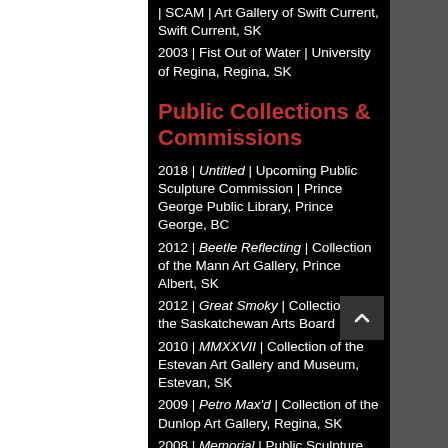| SCAM | Art Gallery of Swift Current, Swift Current, SK
2003 | Fist Out of Water | University of Regina, Regina, SK
Public Collections & Commissions
2018 | Untitled | Upcoming Public Sculpture Commission | Prince George Public Library, Prince George, BC
2012 | Beetle Reflecting | Collection of the Mann Art Gallery, Prince Albert, SK
2012 | Great Smoky | Collection of the Saskatchewan Arts Board
2010 | MMXXVII | Collection of the Estevan Art Gallery and Museum, Estevan, SK
2009 | Petro Max'd | Collection of the Dunlop Art Gallery, Regina, SK
2008 | Memorial | Public Sculpture Commission | With Twyla Exner | Concordia University, Montreal, QC
2007 | Concern | Collection of le Centre